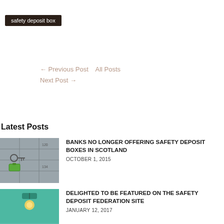safety deposit box
← Previous Post   All Posts   Next Post →
Latest Posts
[Figure (photo): Photo of safety deposit boxes with a key and green tag]
BANKS NO LONGER OFFERING SAFETY DEPOSIT BOXES IN SCOTLAND
OCTOBER 1, 2015
[Figure (photo): Photo showing teal/green background with a light fixture]
DELIGHTED TO BE FEATURED ON THE SAFETY DEPOSIT FEDERATION SITE
JANUARY 12, 2017